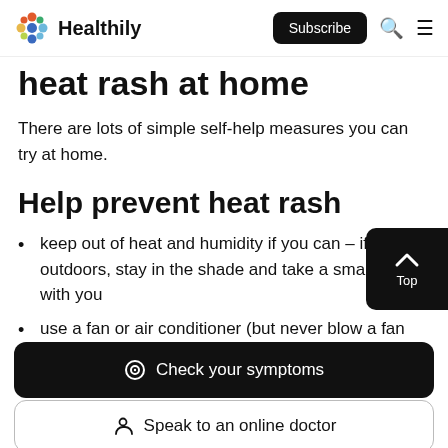Healthily — Subscribe
heat rash at home
There are lots of simple self-help measures you can try at home.
Help prevent heat rash
keep out of heat and humidity if you can – if you outdoors, stay in the shade and take a small fan with you
use a fan or air conditioner (but never blow a fan directly
Check your symptoms
Speak to an online doctor